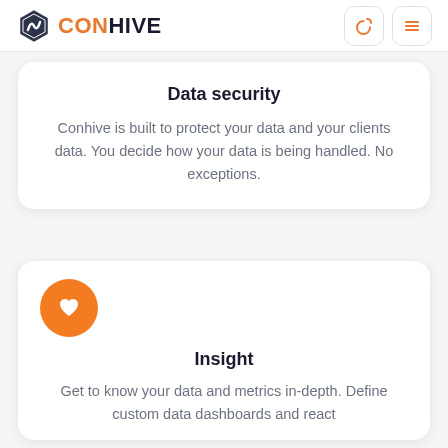CONHIVE
Data security
Conhive is built to protect your data and your clients data. You decide how your data is being handled. No exceptions.
[Figure (illustration): Orange circle with white heart icon]
Insight
Get to know your data and metrics in-depth. Define custom data dashboards and react